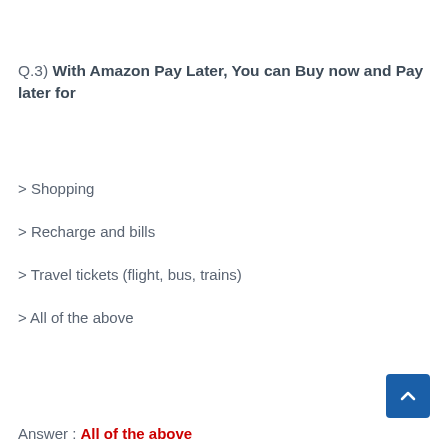Q.3) With Amazon Pay Later, You can Buy now and Pay later for
> Shopping
> Recharge and bills
> Travel tickets (flight, bus, trains)
> All of the above
Answer : All of the above